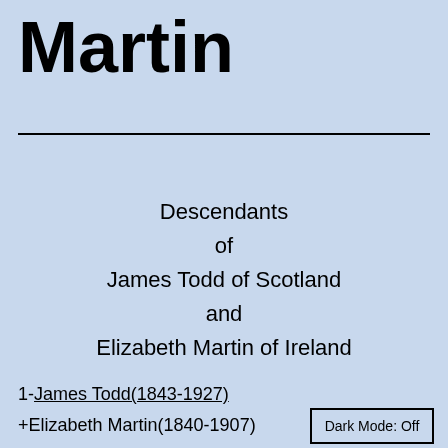Martin
Descendants of James Todd of Scotland and Elizabeth Martin of Ireland
1-James Todd(1843-1927)
+Elizabeth Martin(1840-1907)
Dark Mode: Off